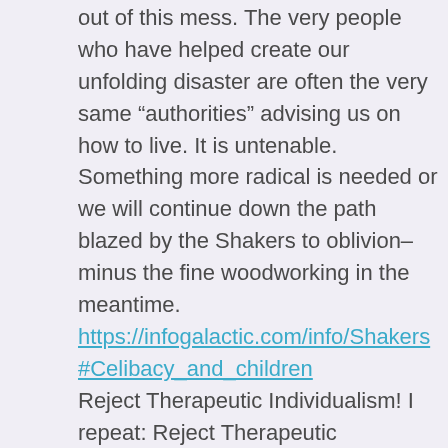out of this mess. The very people who have helped create our unfolding disaster are often the very same “authorities” advising us on how to live. It is untenable. Something more radical is needed or we will continue down the path blazed by the Shakers to oblivion–minus the fine woodworking in the meantime. https://infogalactic.com/info/Shakers#Celibacy_and_children Reject Therapeutic Individualism! I repeat: Reject Therapeutic Individualism!